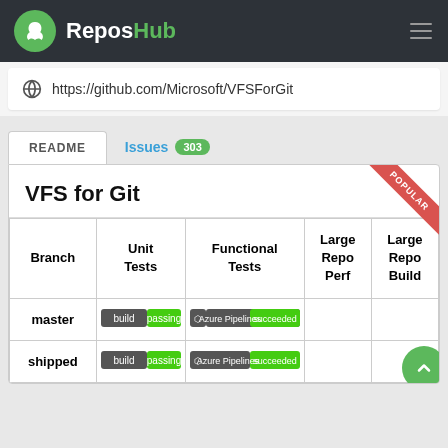ReposHub
https://github.com/Microsoft/VFSForGit
README  Issues 303
VFS for Git
| Branch | Unit Tests | Functional Tests | Large Repo Perf | Large Repo Build |
| --- | --- | --- | --- | --- |
| master | [badge] | [Azure Pipelines succeeded] |  |  |
| shipped | [badge] | [Azure Pipelines succeeded] |  |  |